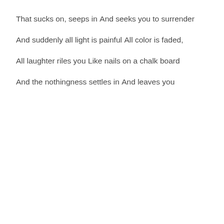That sucks on, seeps in
And seeks you to surrender
And suddenly all light is painful
All color is faded,
All laughter riles you
Like nails on a chalk board
And the nothingness settles in
And leaves you